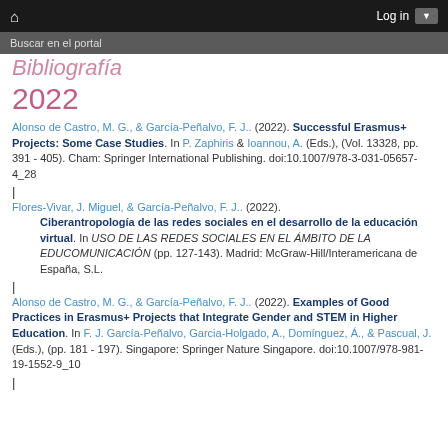🏠   Log in  ▼
Buscar en el portal
Bibliografía
2022
Alonso de Castro, M. G., & García-Peñalvo, F. J.. (2022). Successful Erasmus+ Projects: Some Case Studies. In P. Zaphiris & Ioannou, A. (Eds.), (Vol. 13328, pp. 391 - 405). Cham: Springer International Publishing. doi:10.1007/978-3-031-05657-4_28
Flores-Vivar, J. Miguel, & García-Peñalvo, F. J.. (2022). Ciberantropología de las redes sociales en el desarrollo de la educación virtual. In USO DE LAS REDES SOCIALES EN EL ÁMBITO DE LA EDUCOMUNICACIÓN (pp. 127-143). Madrid: McGraw-Hill/Interamericana de España, S.L.
Alonso de Castro, M. G., & García-Peñalvo, F. J.. (2022). Examples of Good Practices in Erasmus+ Projects that Integrate Gender and STEM in Higher Education. In F. J. García-Peñalvo, Garcia-Holgado, A., Domínguez, Á., & Pascual, J. (Eds.), (pp. 181 - 197). Singapore: Springer Nature Singapore. doi:10.1007/978-981-19-1552-9_10